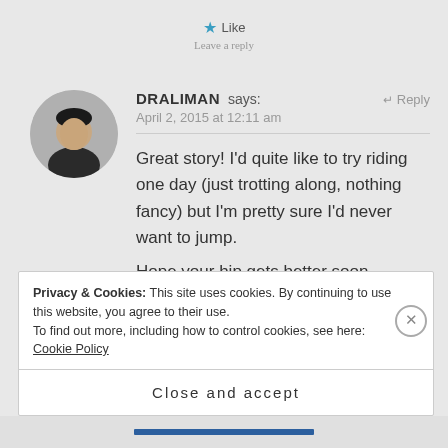★ Like
DRALIMAN says:  ↵ Reply
April 2, 2015 at 12:11 am
Great story! I'd quite like to try riding one day (just trotting along, nothing fancy) but I'm pretty sure I'd never want to jump.
Hope your hip gets better soon.
Privacy & Cookies: This site uses cookies. By continuing to use this website, you agree to their use.
To find out more, including how to control cookies, see here: Cookie Policy
Close and accept